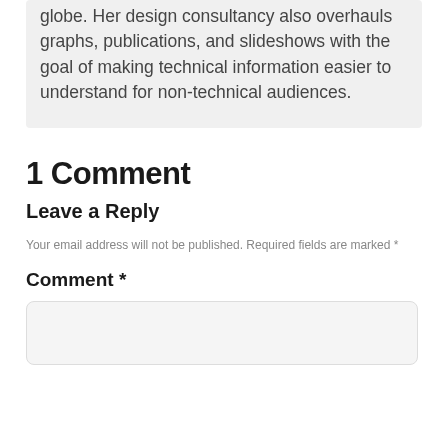globe. Her design consultancy also overhauls graphs, publications, and slideshows with the goal of making technical information easier to understand for non-technical audiences.
1 Comment
Leave a Reply
Your email address will not be published. Required fields are marked *
Comment *